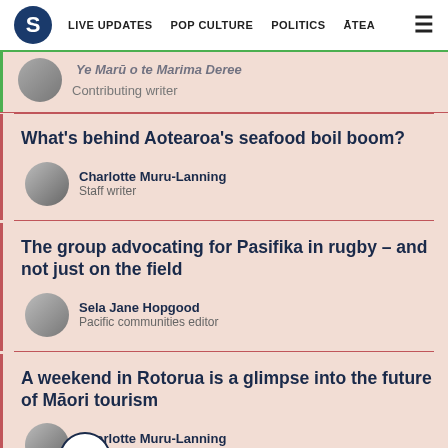S | LIVE UPDATES | POP CULTURE | POLITICS | ĀTEA
Contributing writer
What's behind Aotearoa's seafood boil boom?
Charlotte Muru-Lanning
Staff writer
The group advocating for Pasifika in rugby – and not just on the field
Sela Jane Hopgood
Pacific communities editor
A weekend in Rotorua is a glimpse into the future of Māori tourism
Charlotte Muru-Lanning
Staff writer